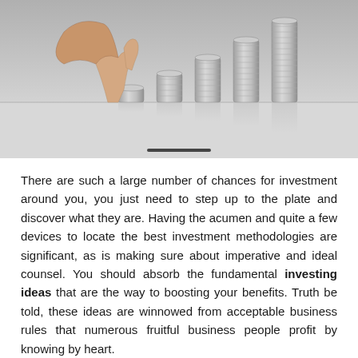[Figure (photo): A hand with fingers walking up stacks of coins arranged in ascending height order on a reflective surface, symbolizing investment growth.]
There are such a large number of chances for investment around you, you just need to step up to the plate and discover what they are. Having the acumen and quite a few devices to locate the best investment methodologies are significant, as is making sure about imperative and ideal counsel. You should absorb the fundamental investing ideas that are the way to boosting your benefits. Truth be told, these ideas are winnowed from acceptable business rules that numerous fruitful business people profit by knowing by heart.
Right off the bat, get as much training as possible about